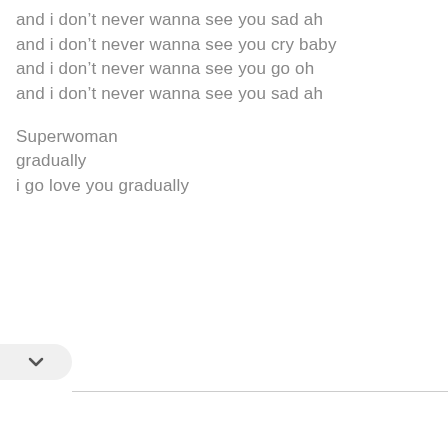and i don't never wanna see you sad ah
and i don't never wanna see you cry baby
and i don't never wanna see you go oh
and i don't never wanna see you sad ah

Superwoman
gradually
i go love you gradually